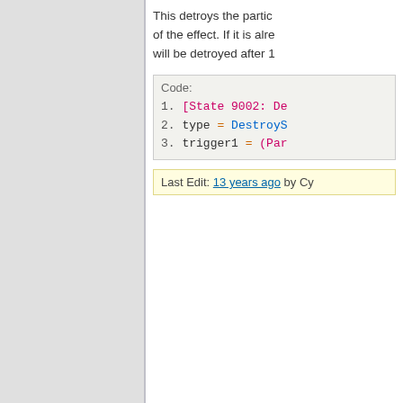This detroys the particle... of the effect. If it is alre... will be detroyed after 1...
Code:
1. [State 9002: De
2. type = DestroyS
3. trigger1 = (Par
Last Edit: 13 years ago by Cy...
DavidGee
Additional Projectile Effe...
I never really was on your side.
This is a way to create... such as dust or afterim...
In your character's mo... in addition to this, add... this for example:
Code: